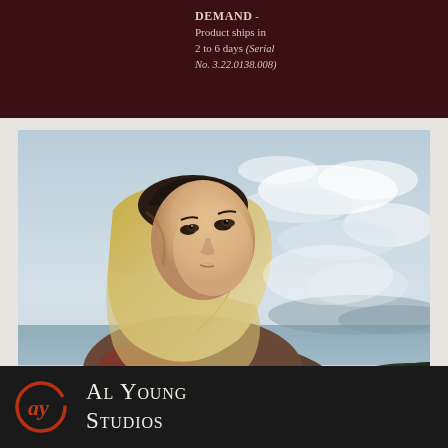DEMAND - Product ships in 2 to 6 days (Serial No. 3.22.0138.008)
[Figure (illustration): Oil painting of a woman wearing a golden/cream headscarf and shawl, looking upward with a contemplative expression. Background shows a cloudy sky and distant water/landscape.]
[Figure (logo): Al Young Studios logo: circular red brushstroke with script initials, on dark background, beside text 'Al Young Studios' in serif small-caps font.]